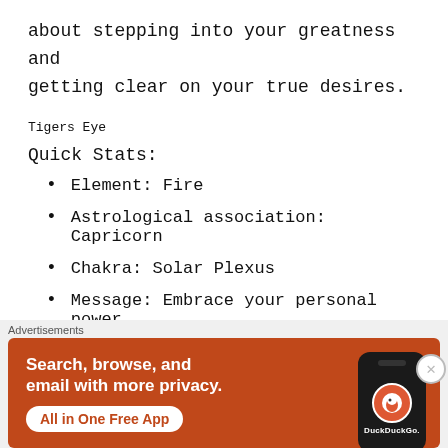about stepping into your greatness and getting clear on your true desires.
Tigers Eye
Quick Stats:
Element: Fire
Astrological association: Capricorn
Chakra: Solar Plexus
Message: Embrace your personal power
[Figure (screenshot): DuckDuckGo advertisement banner with orange background showing 'Search, browse, and email with more privacy. All in One Free App' text with a phone image and DuckDuckGo logo]